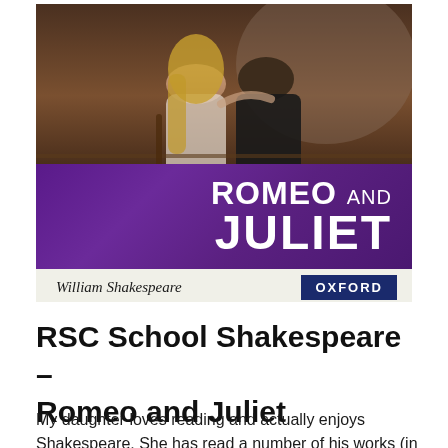[Figure (illustration): Book cover of RSC School Shakespeare Romeo and Juliet published by Oxford. Features a photo of a couple embracing, overlaid with a purple banner showing the title 'ROMEO AND JULIET' in large white bold text, author name 'William Shakespeare' in italic, and an Oxford logo badge in dark blue.]
RSC School Shakespeare – Romeo and Juliet
My daughter loves reading and actually enjoys Shakespeare. She has read a number of his works (in a